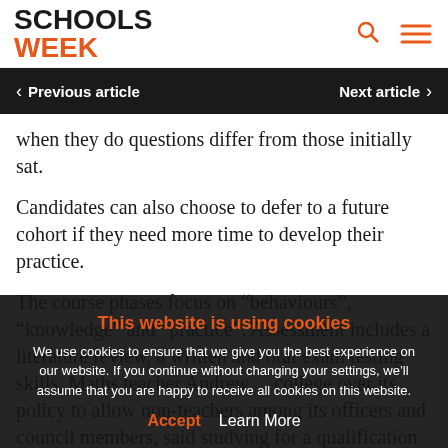[Figure (logo): Schools Week logo with SCHOOLS in black bold and WEEK in orange bold]
< Previous article   Next article >
when they do questions differ from those initially sat.
Candidates can also choose to defer to a future cohort if they need more time to develop their practice.
The course phases focus on “behaviours”, “knowledge” and “practice”. Assessment includes a literature review, a written and oral exam testing skills...
Maths teacher Andrew... college over its policy to allow non-teachers among its officers and council members, said studying for a qualification while working as a teacher “is extremely
This website is using cookies
We use cookies to ensure that we give you the best experience on our website. If you continue without changing your settings, we’ll assume that you are happy to receive all cookies on this website.
Accept   Learn More